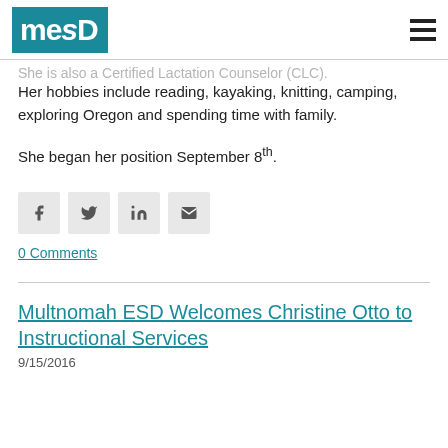mesd
Home Health. Ms. Much earned her Bachelor's nursing from Montana State University and ing on her Master's degree Spring 2017. She is also a Certified Lactation Counselor (CLC).
Her hobbies include reading, kayaking, knitting, camping, exploring Oregon and spending time with family.
She began her position September 8th.
[Figure (infographic): Social share buttons: Facebook (f), Twitter (bird), LinkedIn (in), Email (envelope)]
0 Comments
Multnomah ESD Welcomes Christine Otto to Instructional Services
9/15/2016